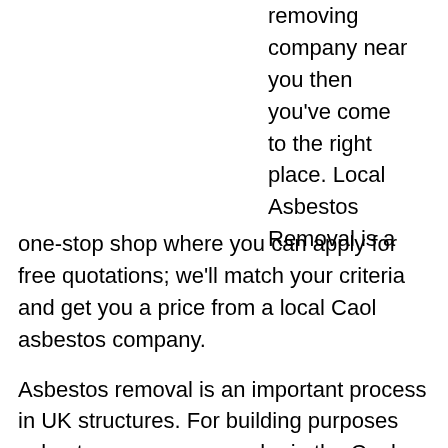removing company near you then you've come to the right place. Local Asbestos Removal is a one-stop shop where you can apply for free quotations; we'll match your criteria and get you a price from a local Caol asbestos company.
Asbestos removal is an important process in UK structures. For building purposes asbestos once was popular in the Caol, PH33 area. However with related health risks the Government imposed a ban on its use in 2006.
Despite this there are still a huge number of houses with asbestos...